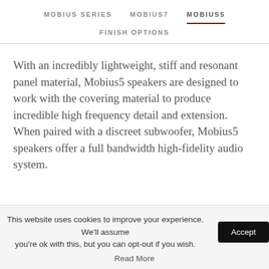MOBIUS SERIES  MOBIUS7  MOBIUS5  FINISH OPTIONS
With an incredibly lightweight, stiff and resonant panel material, Mobius5 speakers are designed to work with the covering material to produce incredible high frequency detail and extension. When paired with a discreet subwoofer, Mobius5 speakers offer a full bandwidth high-fidelity audio system.
This website uses cookies to improve your experience. We'll assume you're ok with this, but you can opt-out if you wish. Accept
Read More